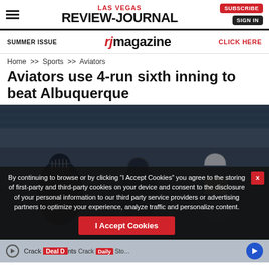LAS VEGAS REVIEW-JOURNAL | SUBSCRIBE | SIGN IN
SUMMER ISSUE  rj magazine  CLICK HERE
Home >> Sports >> Aviators
Aviators use 4-run sixth inning to beat Albuquerque
[Figure (photo): Baseball players (catcher, umpire, and batter) on field, stadium seats in background]
By continuing to browse or by clicking “I Accept Cookies” you agree to the storing of first-party and third-party cookies on your device and consent to the disclosure of your personal information to our third party service providers or advertising partners to optimize your experience, analyze traffic and personalize content.
I Accept Cookies
Crack  Deal D  nts  Crack  aily Sto...